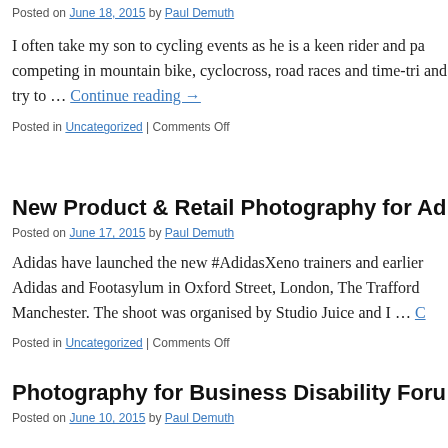Posted on June 18, 2015 by Paul Demuth
I often take my son to cycling events as he is a keen rider and pa competing in mountain bike, cyclocross, road races and time-tri and try to … Continue reading →
Posted in Uncategorized | Comments Off
New Product & Retail Photography for Ad
Posted on June 17, 2015 by Paul Demuth
Adidas have launched the new #AdidasXeno trainers and earlier Adidas and Footasylum in Oxford Street, London, The Trafford Manchester. The shoot was organised by Studio Juice and I … C
Posted in Uncategorized | Comments Off
Photography for Business Disability Foru
Posted on June 10, 2015 by Paul Demuth